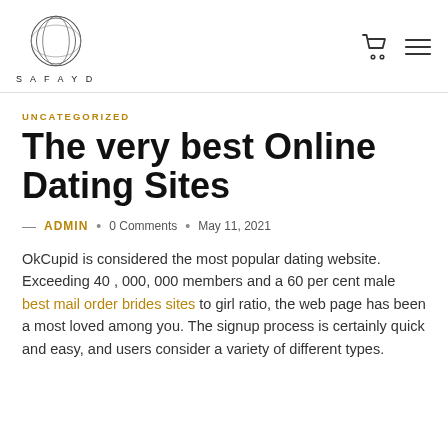SAFAYD
UNCATEGORIZED
The very best Online Dating Sites
— ADMIN · 0 Comments · May 11, 2021
OkCupid is considered the most popular dating website. Exceeding 40,000,000 members and a 60 per cent male best mail order brides sites to girl ratio, the web page has been a most loved among you. The signup process is certainly quick and easy, and users consider a variety of different types.